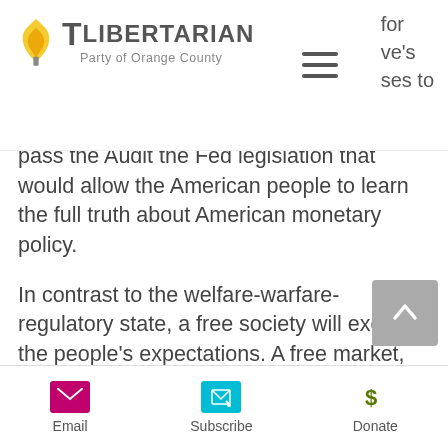[Figure (logo): Libertarian Party of Orange County logo with flame/torch icon and text]
for
ve's
ses to
pass the Audit the Fed legislation that would allow the American people to learn the full truth about American monetary policy.
In contrast to the welfare-warfare-regulatory state, a free society will exceed the people’s expectations. A free market, featuring a currency chosen by the people, not the government, can meet all people’s demands for quality goods and services. Private charities could effectively and compassionately take
Email   Subscribe   Donate